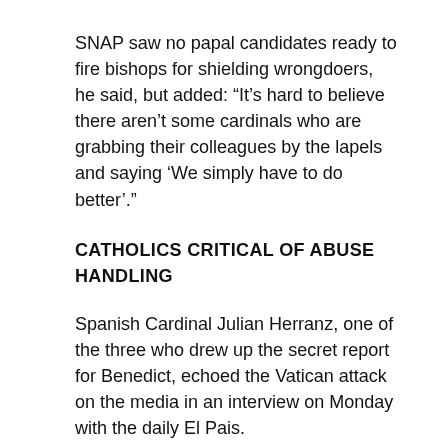SNAP saw no papal candidates ready to fire bishops for shielding wrongdoers, he said, but added: “It’s hard to believe there aren’t some cardinals who are grabbing their colleagues by the lapels and saying ‘We simply have to do better’.”
CATHOLICS CRITICAL OF ABUSE HANDLING
Spanish Cardinal Julian Herranz, one of the three who drew up the secret report for Benedict, echoed the Vatican attack on the media in an interview on Monday with the daily El Pais.
“This wanting to see snake pits, warring mafias, internal hatreds – all this is absolutely false,” he said.
Because conclaves are such secretive events, it is hard to see what effect the heightened public pressure over